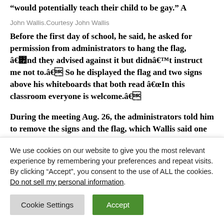â€œwould potentially teach their child to be gay.â€ A
John Wallis.Courtesy John Wallis
Before the first day of school, he said, he asked for permission from administrators to hang the flag, â€œand they advised against it but didnâ€™t instruct me not to.â€ So he displayed the flag and two signs above his whiteboards that both read â€œIn this classroom everyone is welcome.â€
During the meeting Aug. 26, the administrators told him to remove the signs and the flag, which Wallis said one of the
We use cookies on our website to give you the most relevant experience by remembering your preferences and repeat visits. By clicking “Accept”, you consent to the use of ALL the cookies.
Do not sell my personal information.
Cookie Settings
Accept